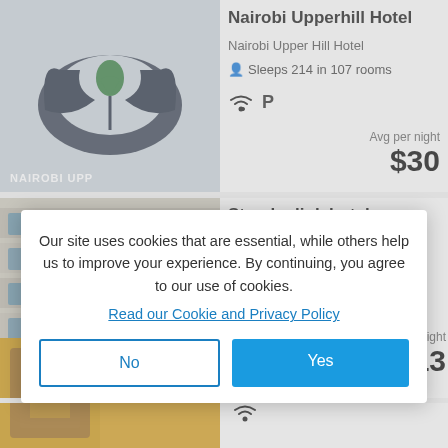[Figure (photo): Nairobi Upperhill Hotel logo sign on building wall — stylized dark wing shapes with a green heart, above text NAIROBI UPP...]
Nairobi Upperhill Hotel
Nairobi Upper Hill Hotel
Sleeps 214 in 107 rooms
WiFi and Parking amenity icons
Avg per night
$30
[Figure (photo): Multi-story building exterior with rows of rectangular windows — Starehe link hotel / Pumwani Hotel building facade]
Starehe link hotel
Pumwani Hotel
Sleeps 144
night
13
Our site uses cookies that are essential, while others help us to improve your experience. By continuing, you agree to our use of cookies.
Read our Cookie and Privacy Policy
No
Yes
[Figure (photo): Partial view of a hotel room interior with wooden furniture and orange/yellow walls]
Sleeps 111
WiFi icon
Filters